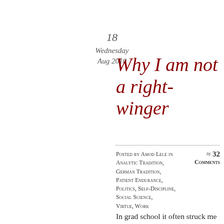18
Wednesday
Aug 2010
Why I am not a right-winger
Posted by Amod Lele in Analytic Tradition, German Tradition, Patient Endurance, Politics, Self-Discipline, Social Science, Virtue, Work ≈ 32 Comments
Tags
autobiography, Bertrand Russell, conservatism, George W.
In grad school it often struck me that most of my intellectual partnerships were with self-professed conservative grad students, despite my own left-wing politics. Similarly, some of the most interesting blogs I've found have been conservative or right-wing.
It took me a while to figure out the reason for this, but I came to see it quite clearly: for most left-wingers, the